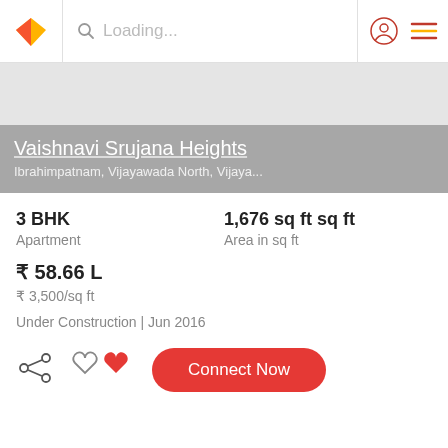Loading...
[Figure (screenshot): Property listing screenshot showing Vaishnavi Srujana Heights]
Vaishnavi Srujana Heights
Ibrahimpatnam, Vijayawada North, Vijaya...
3 BHK
Apartment
1,676 sq ft sq ft
Area in sq ft
₹ 58.66 L
₹ 3,500/sq ft
Under Construction | Jun 2016